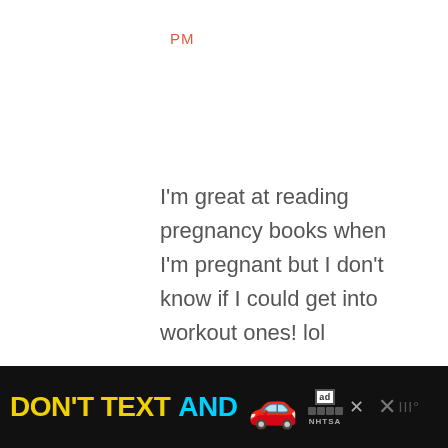PM
I'm great at reading pregnancy books when I'm pregnant but I don't know if I could get into workout ones! lol
Reply
2
NANCY REYES
[Figure (screenshot): Mobile ad banner: DON'T TEXT AND [car emoji] with NHTSA ad badge and close buttons]